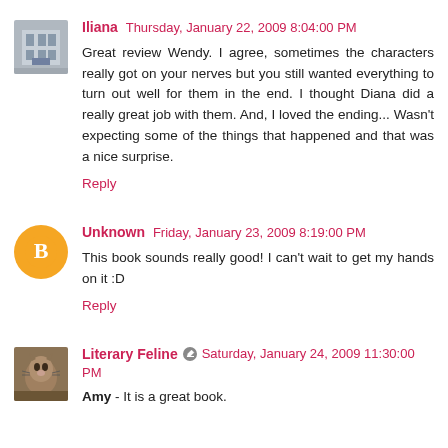Iliana  Thursday, January 22, 2009 8:04:00 PM
Great review Wendy. I agree, sometimes the characters really got on your nerves but you still wanted everything to turn out well for them in the end. I thought Diana did a really great job with them. And, I loved the ending... Wasn't expecting some of the things that happened and that was a nice surprise.
Reply
Unknown  Friday, January 23, 2009 8:19:00 PM
This book sounds really good! I can't wait to get my hands on it :D
Reply
Literary Feline  Saturday, January 24, 2009 11:30:00 PM
Amy - It is a great book.